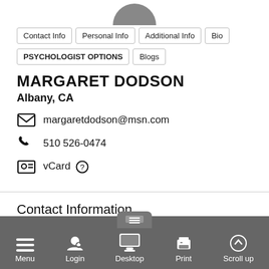[Figure (photo): Circular avatar photo, dark gray, partially cropped at top]
Contact Info
Personal Info
Additional Info
Bio
PSYCHOLOGIST OPTIONS
Blogs
MARGARET DODSON
Albany, CA
margaretdodson@msn.com
510 526-0474
vCard
Contact Information
Member Number
21
Location
Albany, CA
Email Address
Menu  Login  Desktop  Print  Scroll up